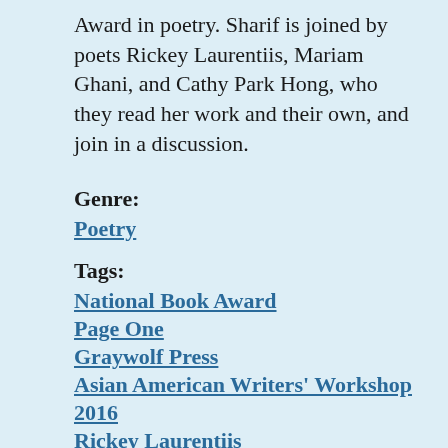Award in poetry. Sharif is joined by poets Rickey Laurentiis, Mariam Ghani, and Cathy Park Hong, who they read her work and their own, and join in a discussion.
Genre:
Poetry
Tags:
National Book Award
Page One
Graywolf Press
Asian American Writers' Workshop
2016
Rickey Laurentiis
July/August 2016
Solmaz Sharif
Look